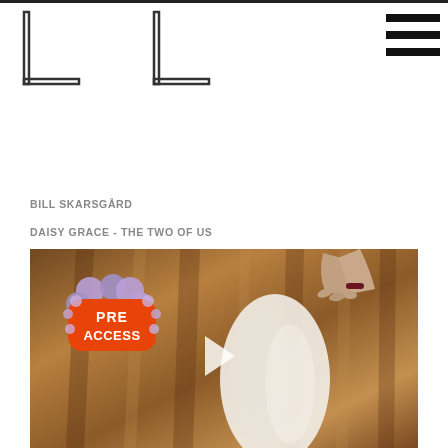[Figure (logo): Two overlapping L-shaped bracket logos (outline style)]
[Figure (infographic): Hamburger menu icon (three horizontal bars)]
BILL SKARSGÅRD
DAISY GRACE - THE TWO OF US
[Figure (screenshot): Video thumbnail showing a person holding white fabric/sheet against a warm brown curtain backdrop, with a 'PRE ACCESS' bubble badge in the lower left and a play button overlay in the center]